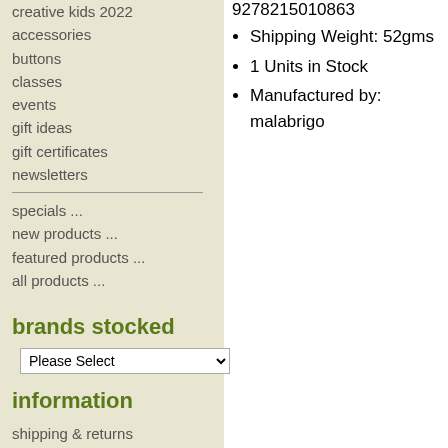creative kids 2022
accessories
buttons
classes
events
gift ideas
gift certificates
newsletters
specials ...
new products ...
featured products ...
all products ...
brands stocked
information
shipping & returns
privacy notice
conditions of use
contact us
site map
9278215010863
Shipping Weight: 52gms
1 Units in Stock
Manufactured by: malabrigo